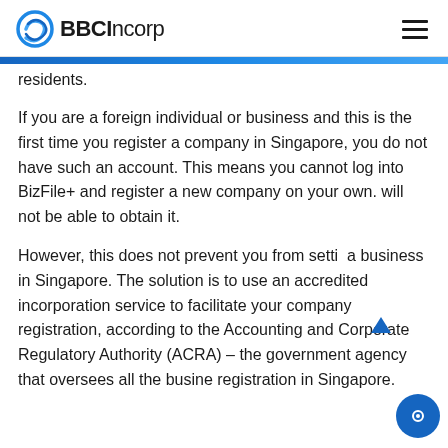BBCIncorp
residents.
If you are a foreign individual or business and this is the first time you register a company in Singapore, you do not have such an account. This means you cannot log into BizFile+ and register a new company on your own. will not be able to obtain it.
However, this does not prevent you from setting a business in Singapore. The solution is to use an accredited incorporation service to facilitate your company registration, according to the Accounting and Corporate Regulatory Authority (ACRA) – the government agency that oversees all the business registration in Singapore.